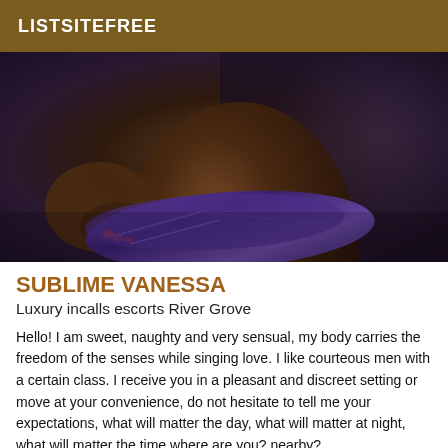LISTSITEFREE
[Figure (photo): Close-up photo of a person's torso wearing purple clothing against a dark background]
SUBLIME VANESSA
Luxury incalls escorts River Grove
Hello! I am sweet, naughty and very sensual, my body carries the freedom of the senses while singing love. I like courteous men with a certain class. I receive you in a pleasant and discreet setting or move at your convenience, do not hesitate to tell me your expectations, what will matter the day, what will matter at night, what will matter the time where are you? nearby?